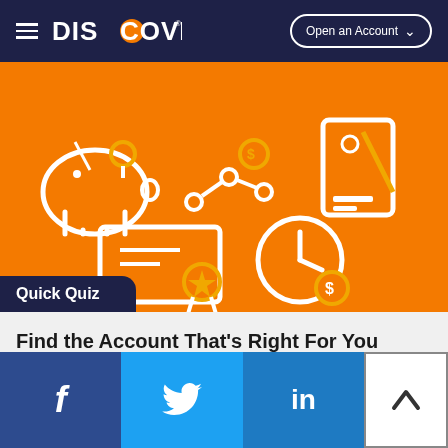[Figure (logo): Discover Financial Services logo and navigation bar with hamburger menu and Open an Account button]
[Figure (illustration): Orange banner with white line icons: piggy bank, line chart with dollar coin, credit card, certificate/award, clock with dollar coin. Quick Quiz label in dark navy at bottom left.]
Find the Account That's Right For You
[Figure (illustration): Social media footer with Facebook, Twitter, LinkedIn icons and a scroll-to-top button]